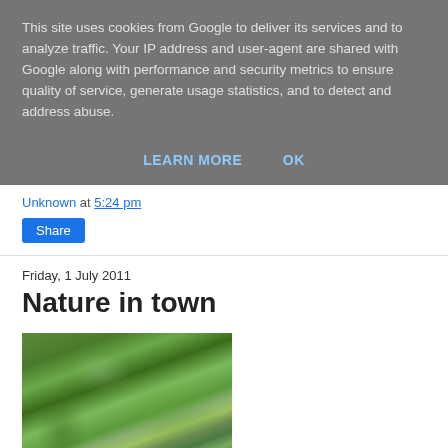This site uses cookies from Google to deliver its services and to analyze traffic. Your IP address and user-agent are shared with Google along with performance and security metrics to ensure quality of service, generate usage statistics, and to detect and address abuse.
LEARN MORE   OK
Unknown at 5:24 pm
Share
Friday, 1 July 2011
Nature in town
[Figure (photo): Photograph of green leafy shrubs with purple flowering plant, likely buddleia, photographed outdoors in a garden or town setting.]